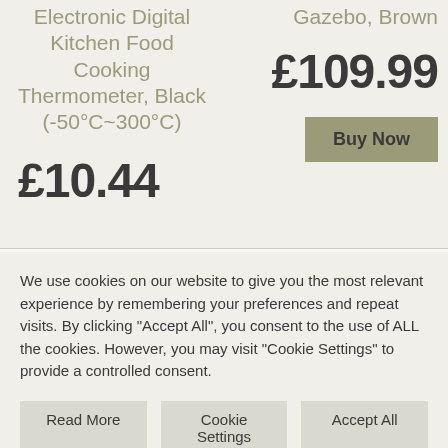Electronic Digital Kitchen Food Cooking Thermometer, Black (-50°C~300°C)
Gazebo, Brown
£109.99
£10.44
Buy Now
We use cookies on our website to give you the most relevant experience by remembering your preferences and repeat visits. By clicking "Accept All", you consent to the use of ALL the cookies. However, you may visit "Cookie Settings" to provide a controlled consent.
Read More
Cookie Settings
Accept All